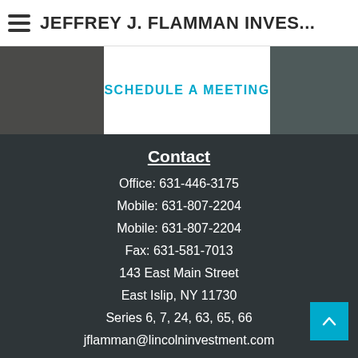JEFFREY J. FLAMMAN INVES...
[Figure (photo): Background photo of a person writing/signing a document on a desk, shown in dark muted tones. A white banner overlaid reads SCHEDULE A MEETING in cyan bold uppercase text.]
Contact
Office: 631-446-3175
Mobile: 631-807-2204
Mobile: 631-807-2204
Fax: 631-581-7013
143 East Main Street
East Islip, NY 11730
Series 6, 7, 24, 63, 65, 66
jflamman@lincolninvestment.com
Quick Links
Retirement